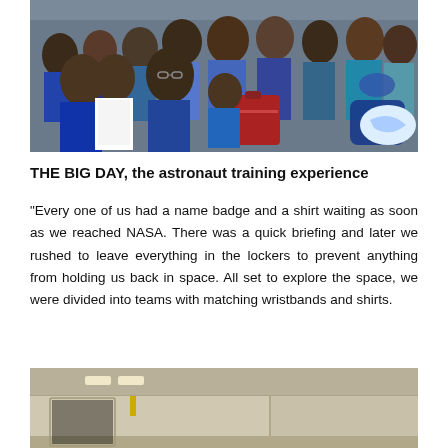[Figure (photo): Group photo of students with luggage, presumably at an airport or travel hub, with backpacks and a large red suitcase visible.]
THE BIG DAY, the astronaut training experience
“Every one of us had a name badge and a shirt waiting as soon as we reached NASA. There was a quick briefing and later we rushed to leave everything in the lockers to prevent anything from holding us back in space. All set to explore the space, we were divided into teams with matching wristbands and shirts.
[Figure (photo): Interior of a large building or hangar with ceiling lights and plain walls, likely the NASA facility.]